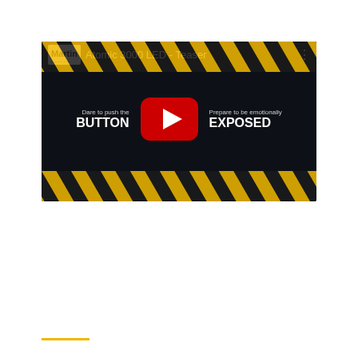[Figure (screenshot): YouTube video thumbnail for 'Atomic 3000 LED - Teaser' by Martin. Dark background with yellow/black hazard tape stripes at top and bottom. Center shows a YouTube play button (red rounded square with white triangle). Left of play button: 'Dare to push the BUTTON'. Right of play button: 'Prepare to be emotionally EXPOSED'. Martin logo in top-left corner. Three-dot menu icon in top-right.]